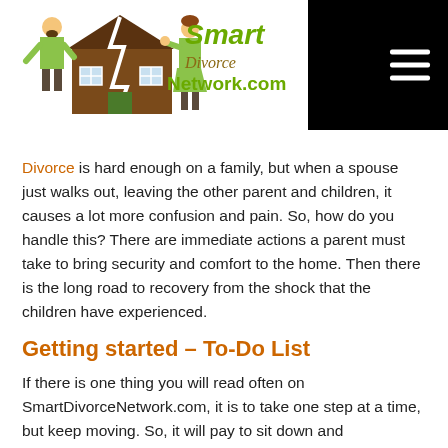[Figure (logo): Smart Divorce Network.com logo with illustration of two people standing beside a broken house, and the text 'Smart Divorce Network.com' in green and gold colors]
Divorce is hard enough on a family, but when a spouse just walks out, leaving the other parent and children, it causes a lot more confusion and pain. So, how do you handle this? There are immediate actions a parent must take to bring security and comfort to the home. Then there is the long road to recovery from the shock that the children have experienced.
Getting started – To-Do List
If there is one thing you will read often on SmartDivorceNetwork.com, it is to take one step at a time, but keep moving. So, it will pay to sit down and